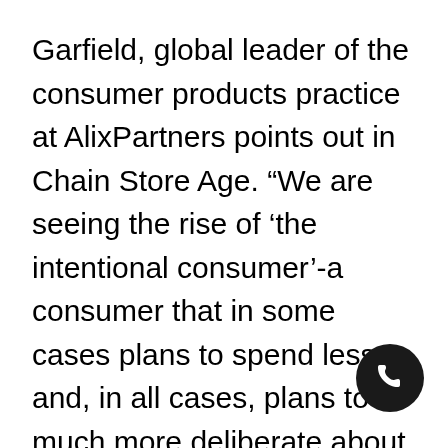Garfield, global leader of the consumer products practice at AlixPartners points out in Chain Store Age. “We are seeing the rise of 'the intentional consumer'-a consumer that in some cases plans to spend less and, in all cases, plans to be much more deliberate about how and where to spend.”
Not only is spending impacted by the "intentional consumer" but so are their shopping trips. Shoppers are spending more time researching and planning their